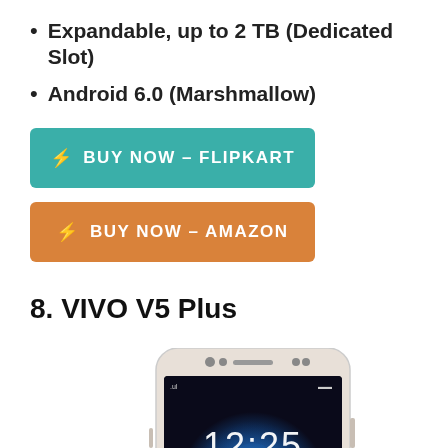Expandable, up to 2 TB (Dedicated Slot)
Android 6.0 (Marshmallow)
[Figure (other): Teal button: BUY NOW – FLIPKART]
[Figure (other): Orange button: BUY NOW – AMAZON]
8. VIVO V5 Plus
[Figure (photo): VIVO V5 Plus smartphone showing lock screen with time 12:25, Mon 23 Jan, and a dark galaxy wallpaper with blue light. White/gold frame.]